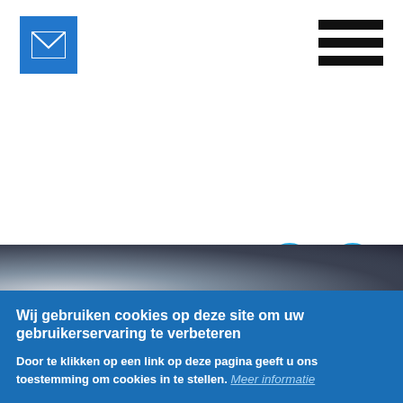[Figure (logo): Blue square email/mail icon in top left corner of page header]
[Figure (illustration): Hamburger menu icon (three horizontal black bars) in top right corner]
[Figure (illustration): Two circular social media icons: Twitter (bird) and LinkedIn (in), both in light blue circles, positioned on right side]
[Figure (photo): Dark photograph strip showing what appears to be people in dark clothing, partially visible]
Wij gebruiken cookies op deze site om uw gebruikerservaring te verbeteren
Door te klikken op een link op deze pagina geeft u ons toestemming om cookies in te stellen. Meer informatie